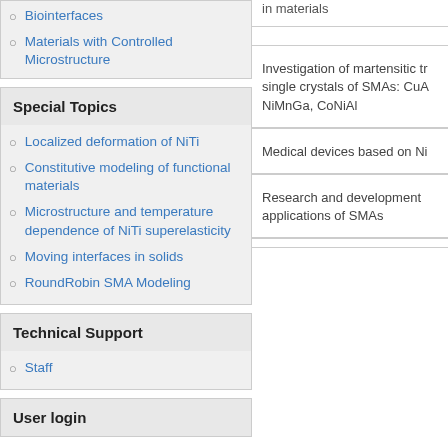Biointerfaces
Materials with Controlled Microstructure
Special Topics
Localized deformation of NiTi
Constitutive modeling of functional materials
Microstructure and temperature dependence of NiTi superelasticity
Moving interfaces in solids
RoundRobin SMA Modeling
Technical Support
Staff
User login
in materials
Investigation of martensitic tr single crystals of SMAs: CuA NiMnGa, CoNiAl
Medical devices based on Ni
Research and development applications of SMAs